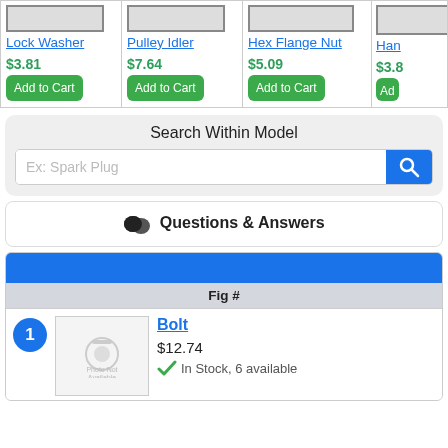[Figure (screenshot): Product carousel showing Lock Washer ($3.81), Pulley Idler ($7.64), Hex Flange Nut ($5.09), and partially visible item ($3.8x) each with product images and Add to Cart buttons]
Search Within Model
Ex: Spark Plug
Questions & Answers
| Fig # |
| --- |
Bolt
$12.74
In Stock, 6 available